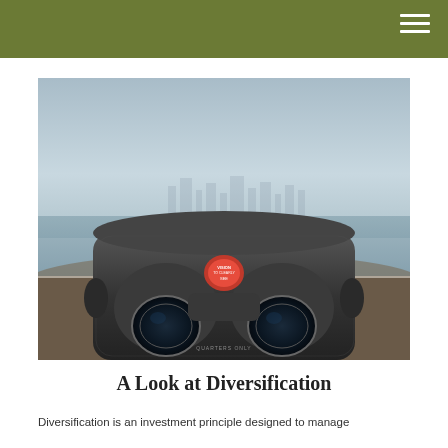[Figure (photo): A coin-operated binocular viewer in the foreground with a misty cityscape visible across a body of water in the background. The viewer is metallic with a red coin slot badge. The image is in cool, desaturated tones. The text on the viewer reads 'VISION TO CLEARLY SEE' and 'QUARTERS ONLY'.]
A Look at Diversification
Diversification is an investment principle designed to manage